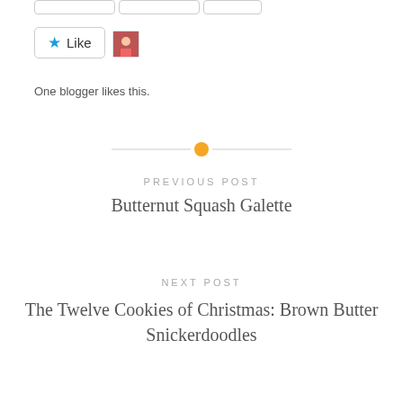[Figure (other): Like button with star icon and avatar thumbnail, with 'One blogger likes this.' text below]
One blogger likes this.
[Figure (other): Horizontal divider with orange circle in the center]
PREVIOUS POST
Butternut Squash Galette
NEXT POST
The Twelve Cookies of Christmas: Brown Butter Snickerdoodles